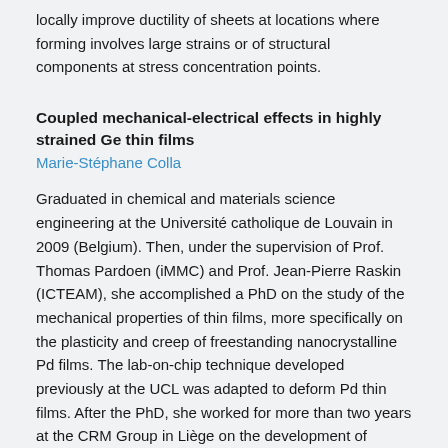locally improve ductility of sheets at locations where forming involves large strains or of structural components at stress concentration points.
Coupled mechanical-electrical effects in highly strained Ge thin films
Marie-Stéphane Colla
Graduated in chemical and materials science engineering at the Université catholique de Louvain in 2009 (Belgium). Then, under the supervision of Prof. Thomas Pardoen (iMMC) and Prof. Jean-Pierre Raskin (ICTEAM), she accomplished a PhD on the study of the mechanical properties of thin films, more specifically on the plasticity and creep of freestanding nanocrystalline Pd films. The lab-on-chip technique developed previously at the UCL was adapted to deform Pd thin films. After the PhD, she worked for more than two years at the CRM Group in Liège on the development of industrially viable thin film solar cells on steel. From June 2016 to September 2018, she is back at the UCL as a research engineer involved in projects dealing with the understanding of fracture behaviour of high